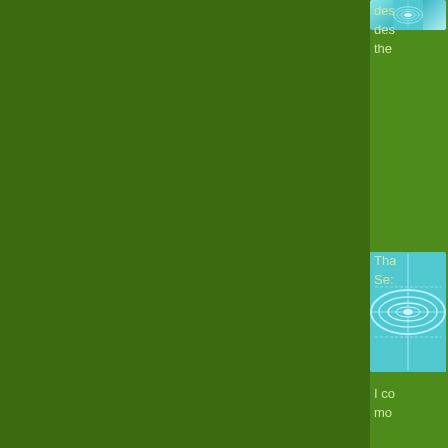[Figure (illustration): Avatar icon with teal/cyan spiral/tunnel geometric pattern on green background - top comment]
des
des
the
[Figure (illustration): Avatar icon with teal/cyan spiral/tunnel geometric pattern on green background - second comment]
Tha
Se:

I co
mo

Su
wha
The comments to t
Pl
Micro Review: "Im
Excess: Jean-Luc N
and Hermeneutics